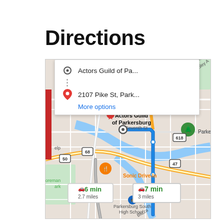Directions
[Figure (map): Google Maps screenshot showing driving directions from Actors Guild of Parkersburg to 2107 Pike St, Parkersburg. Map shows two route options: one labeled 6 min / 2.7 miles and another labeled 7 min / 3 miles. A directions popup overlay shows origin 'Actors Guild of Pa...' and destination '2107 Pike St, Park...' with a 'More options' link. The map displays streets including Seventh St, Fifth St, Broad St, 23rd St, Dudley Ave. Route shown in blue. Features include a green tree marker for Parke[rsburg], route 50, 68, 618, 47 markers, Sonic Drive-In label, Foreman Park label, Parkersburg South High School label.]